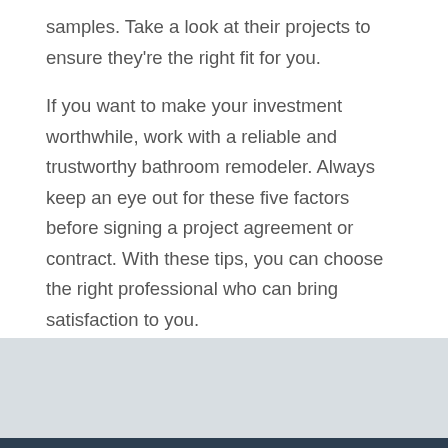samples. Take a look at their projects to ensure they're the right fit for you.
If you want to make your investment worthwhile, work with a reliable and trustworthy bathroom remodeler. Always keep an eye out for these five factors before signing a project agreement or contract. With these tips, you can choose the right professional who can bring satisfaction to you.